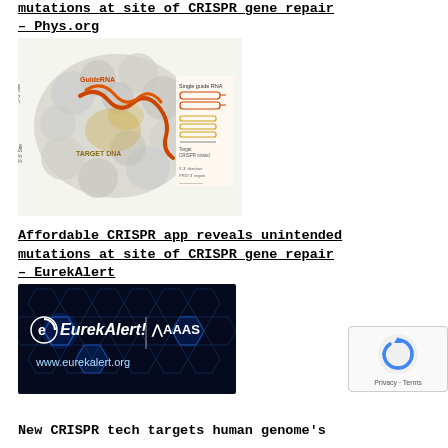mutations at site of CRISPR gene repair – Phys.org
[Figure (photo): CRISPR-Cas9 protein structure illustration with guide RNA (GuideRNA) and target DNA labeled, alongside a diagram showing single guide RNA and CRISPR editing mechanism with target strand details.]
Affordable CRISPR app reveals unintended mutations at site of CRISPR gene repair – EurekAlert
[Figure (logo): EurekAlert! and AAAS logo banner with blue hexagonal background pattern and text 'www.eurekalert.org']
[Figure (other): reCAPTCHA widget showing recycling-style arrows logo with text 'Privacy - Terms']
New CRISPR tech targets human genome's